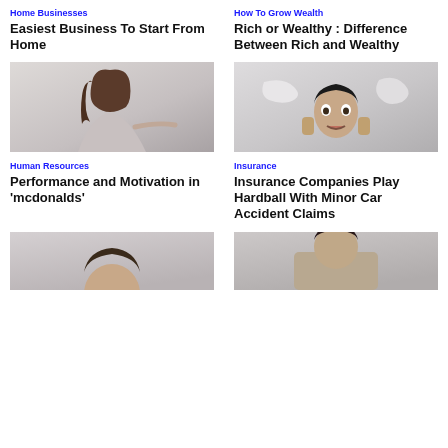Home Businesses
Easiest Business To Start From Home
How To Grow Wealth
Rich or Wealthy : Difference Between Rich and Wealthy
[Figure (photo): Young woman smiling and pointing, light background]
Human Resources
Performance and Motivation in 'mcdonalds'
[Figure (photo): Surprised Asian man poking head through torn paper]
Insurance
Insurance Companies Play Hardball With Minor Car Accident Claims
[Figure (photo): Partial view of person, bottom of page left column]
[Figure (photo): Partial view of person, bottom of page right column]